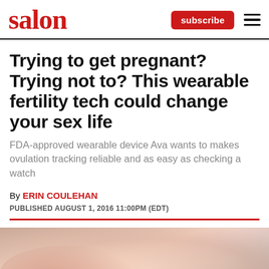salon
Trying to get pregnant? Trying not to? This wearable fertility tech could change your sex life
FDA-approved wearable device Ava wants to makes ovulation tracking reliable and as easy as checking a watch
By ERIN COULEHAN
PUBLISHED AUGUST 1, 2016 11:00PM (EDT)
[Figure (photo): Blurred close-up photo of a sleeping couple, soft warm tones]